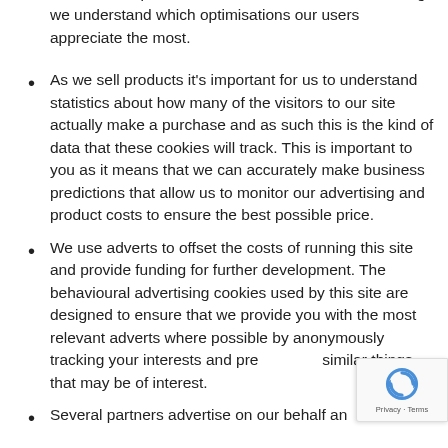consistent experience whilst on the site whilst ensuring we understand which optimisations our users appreciate the most.
As we sell products it's important for us to understand statistics about how many of the visitors to our site actually make a purchase and as such this is the kind of data that these cookies will track. This is important to you as it means that we can accurately make business predictions that allow us to monitor our advertising and product costs to ensure the best possible price.
We use adverts to offset the costs of running this site and provide funding for further development. The behavioural advertising cookies used by this site are designed to ensure that we provide you with the most relevant adverts where possible by anonymously tracking your interests and preferences similar things that may be of interest.
Several partners advertise on our behalf and